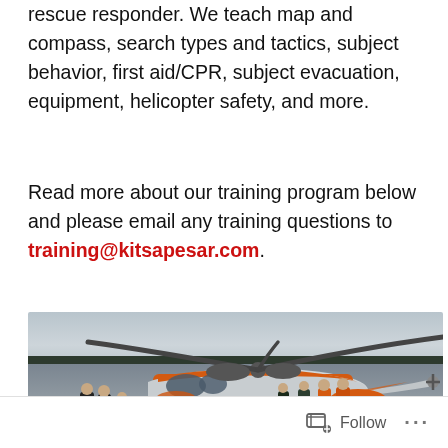rescue responder. We teach map and compass, search types and tactics, subject behavior, first aid/CPR, subject evacuation, equipment, helicopter safety, and more.
Read more about our training program below and please email any training questions to training@kitsapesar.com.
[Figure (photo): Group of people standing next to an orange and white Coast Guard helicopter (Sikorsky HH-60 Jayhawk) on a wet tarmac on an overcast day. Several people in orange flight suits are visible near the helicopter. Trees visible in the background.]
Follow ...